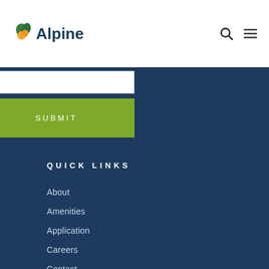[Figure (logo): Alpine logo with orange fruit/leaf icon and dark blue text reading 'Alpine']
SUBMIT
QUICK LINKS
About
Amenities
Application
Careers
Contact
COVID-19 Update 6.30.22